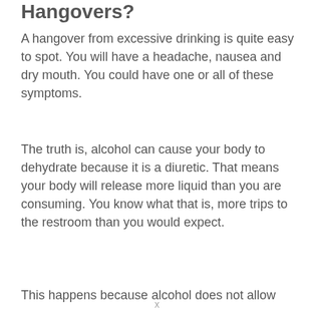Hangovers?
A hangover from excessive drinking is quite easy to spot. You will have a headache, nausea and dry mouth. You could have one or all of these symptoms.
The truth is, alcohol can cause your body to dehydrate because it is a diuretic. That means your body will release more liquid than you are consuming. You know what that is, more trips to the restroom than you would expect.
This happens because alcohol does not allow
x